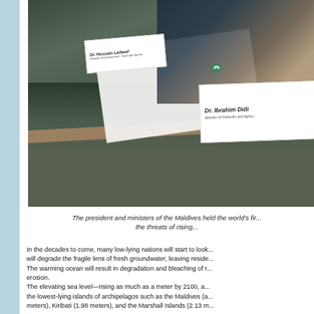[Figure (photo): The president and ministers of the Maldives at a table with documents, nameplates visible including Dr. Ibrahim Didi (Minister of Fisheries and Agriculture) and another official.]
The president and ministers of the Maldives held the world's fir... the threats of rising...
In the decades to come, many low-lying nations will start to look... will degrade the fragile lens of fresh groundwater, leaving reside... The warming ocean will result in degradation and bleaching of r... erosion. The elevating sea level—rising as much as a meter by 2100, a... the lowest-lying islands of archipelagos such as the Maldives (a... meters), Kiribati (1.98 meters), and the Marshall Islands (2.13 m...